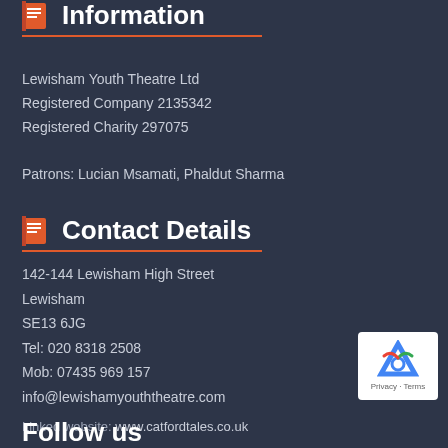Information
Lewisham Youth Theatre Ltd
Registered Company 2135342
Registered Charity 297075

Patrons: Lucian Msamati, Phaldut Sharma
Contact Details
142-144 Lewisham High Street
Lewisham
SE13 6JG
Tel: 020 8318 2508
Mob: 07435 969 157
info@lewishamyouththeatre.com
Linked website: www.catfordtales.co.uk
Follow us